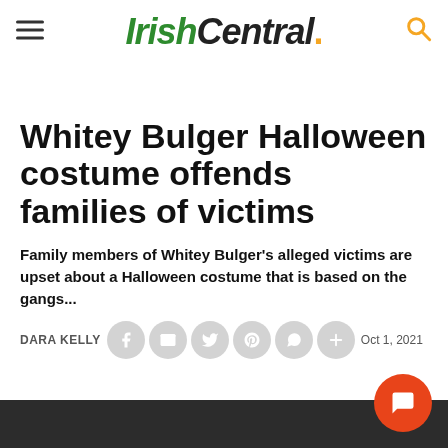IrishCentral.
Whitey Bulger Halloween costume offends families of victims
Family members of Whitey Bulger's alleged victims are upset about a Halloween costume that is based on the gangs...
DARA KELLY @IrishCentral Oct 1, 2021